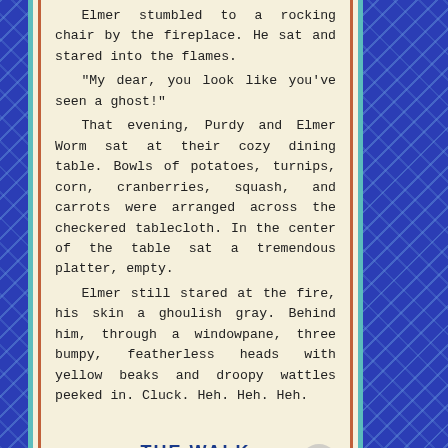Elmer stumbled to a rocking chair by the fireplace. He sat and stared into the flames.
"My dear, you look like you've seen a ghost!"
That evening, Purdy and Elmer Worm sat at their cozy dining table. Bowls of potatoes, turnips, corn, cranberries, squash, and carrots were arranged across the checkered tablecloth. In the center of the table sat a tremendous platter, empty.
Elmer still stared at the fire, his skin a ghoulish gray. Behind him, through a windowpane, three bumpy, featherless heads with yellow beaks and droopy wattles peeked in. Cluck. Heh. Heh. Heh.
THE WALK
By Zoe Miller
Bill punctured his thick, sun-brown finger with the lancet and the Accu-check tasted his blood and spit out a number. He examined it and then shuffled off to the